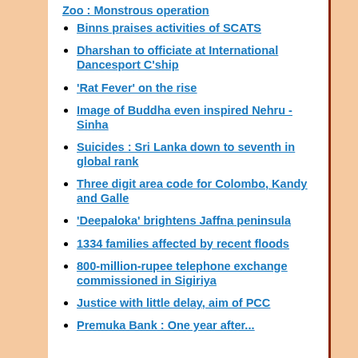Zoo : Monstrous operation
Binns praises activities of SCATS
Dharshan to officiate at International Dancesport C'ship
'Rat Fever' on the rise
Image of Buddha even inspired Nehru - Sinha
Suicides : Sri Lanka down to seventh in global rank
Three digit area code for Colombo, Kandy and Galle
'Deepaloka' brightens Jaffna peninsula
1334 families affected by recent floods
800-million-rupee telephone exchange commissioned in Sigiriya
Justice with little delay, aim of PCC
Premuka Bank : One year after...